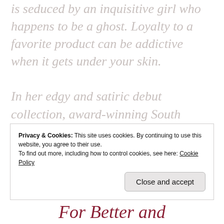is seduced by an inquisitive girl who happens to be a ghost. Loyalty to a favorite product can be addictive when it gets under your skin.

In her edgy and satiric debut collection, award-winning South African author Lauren Beukes (The Shining Girls) never holds back. Ranging from Johannesburg to outer space, Beukes is a fierce and
Privacy & Cookies: This site uses cookies. By continuing to use this website, you agree to their use.
To find out more, including how to control cookies, see here: Cookie Policy
[Close and accept]
For Better and